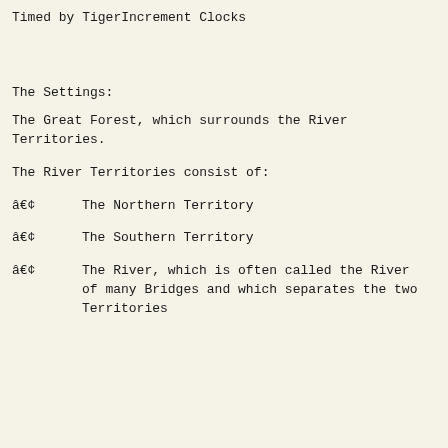Timed by TigerIncrement Clocks
The Settings:
The Great Forest, which surrounds the River Territories.
The River Territories consist of:
• The Northern Territory
• The Southern Territory
• The River, which is often called the River of many Bridges and which separates the two Territories